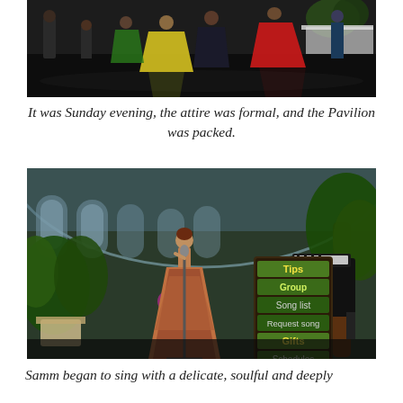[Figure (screenshot): A virtual world scene showing avatars at a formal event on a dark dance floor with colorful dresses]
It was Sunday evening, the attire was formal, and the Pavilion was packed.
[Figure (screenshot): A virtual world scene showing a female avatar in a long ornate dress singing at a microphone in an ornate pavilion with plants and a piano, with a menu board showing Tips, Group, Song list, Request song, Gifts, Schedules]
Samm began to sing with a delicate, soulful and deeply